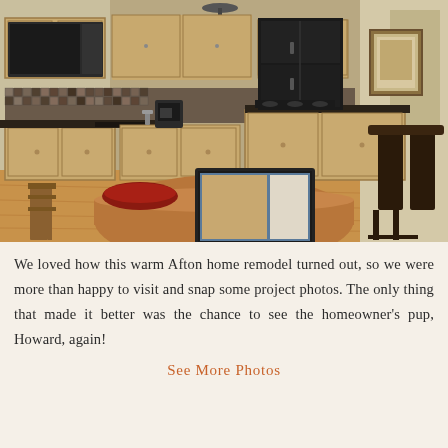[Figure (photo): Interior kitchen photo showing a warm wood-cabinet kitchen remodel with a laptop open on a dining table in the foreground, bar stools, granite countertops, mosaic tile backsplash, and pendant lighting.]
We loved how this warm Afton home remodel turned out, so we were more than happy to visit and snap some project photos. The only thing that made it better was the chance to see the homeowner's pup, Howard, again!
See More Photos